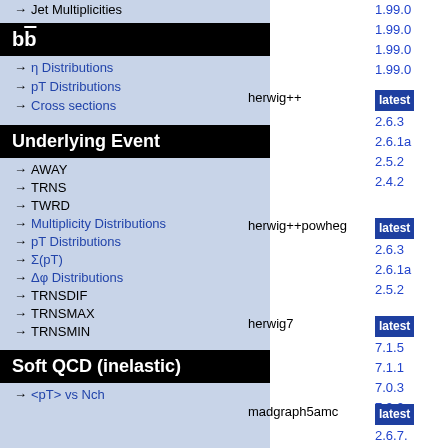→ Jet Multiplicities
bb̄
→ η Distributions
→ pT Distributions
→ Cross sections
Underlying Event
→ AWAY
→ TRNS
→ TWRD
→ Multiplicity Distributions
→ pT Distributions
→ Σ(pT)
→ Δφ Distributions
→ TRNSDIF
→ TRNSMAX
→ TRNSMIN
Soft QCD (inelastic)
→ <pT> vs Nch
1.99.0 1.99.0 1.99.0 1.99.0
herwig++
latest 2.6.3 2.6.1a 2.5.2 2.4.2
herwig++powheg
latest 2.6.3 2.6.1a 2.5.2
herwig7
latest 7.1.5 7.1.1 7.0.3 7.0.0
madgraph5amc
latest 2.6.7. 2.6.6. 2.6.5. 2.6.2.